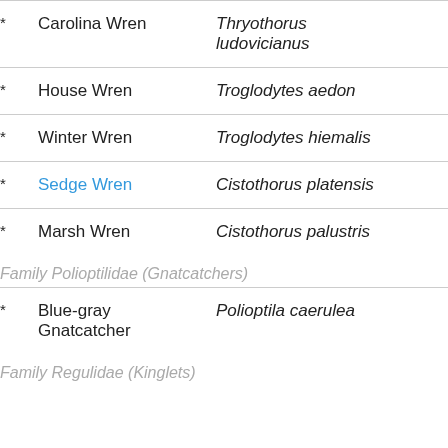* Carolina Wren — Thryothorus ludovicianus
* House Wren — Troglodytes aedon
* Winter Wren — Troglodytes hiemalis
* Sedge Wren — Cistothorus platensis
* Marsh Wren — Cistothorus palustris
Family Polioptilidae (Gnatcatchers)
* Blue-gray Gnatcatcher — Polioptila caerulea
Family Regulidae (Kinglets)